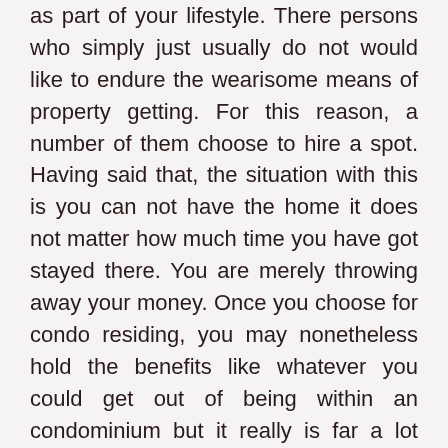as part of your lifestyle. There persons who simply just usually do not would like to endure the wearisome means of property getting. For this reason, a number of them choose to hire a spot. Having said that, the situation with this is you can not have the home it does not matter how much time you have got stayed there. You are merely throwing away your money. Once you choose for condo residing, you may nonetheless hold the benefits like whatever you could get out of being within an condominium but it really is far a lot more hassle-free for you.
Besides the trouble free of charge ownership of condos, you'll be able to really love employing the high-class amenities supplied to all inhabitants.